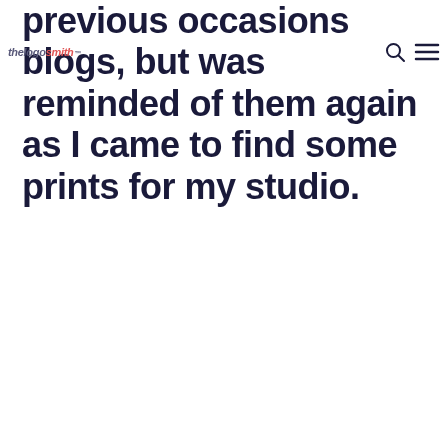thelogosmith™
previous occasions blogs, but was reminded of them again as I came to find some prints for my studio.